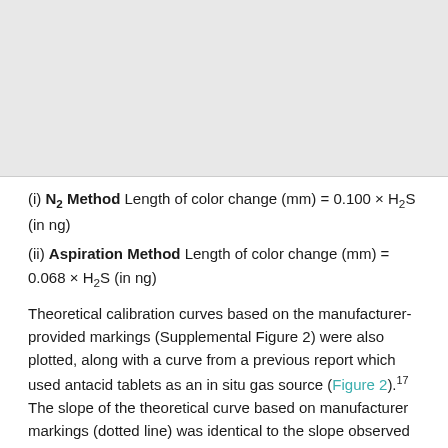[Figure (other): Gray placeholder image area at the top of the page]
(i) N2 Method Length of color change (mm) = 0.100 × H2S (in ng)
(ii) Aspiration Method Length of color change (mm) = 0.068 × H2S (in ng)
Theoretical calibration curves based on the manufacturer-provided markings (Supplemental Figure 2) were also plotted, along with a curve from a previous report which used antacid tablets as an in situ gas source (Figure 2).17 The slope of the theoretical curve based on manufacturer markings (dotted line) was identical to the slope observed for the N2 Method. However, the slope of the Aspiration